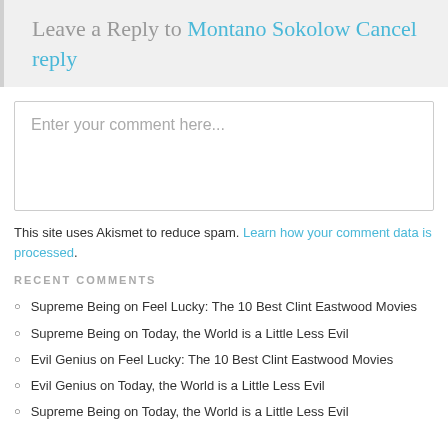Leave a Reply to Montano Sokolow Cancel reply
[Figure (other): Comment text area box with placeholder text 'Enter your comment here...']
This site uses Akismet to reduce spam. Learn how your comment data is processed.
RECENT COMMENTS
Supreme Being on Feel Lucky: The 10 Best Clint Eastwood Movies
Supreme Being on Today, the World is a Little Less Evil
Evil Genius on Feel Lucky: The 10 Best Clint Eastwood Movies
Evil Genius on Today, the World is a Little Less Evil
Supreme Being on Today, the World is a Little Less Evil